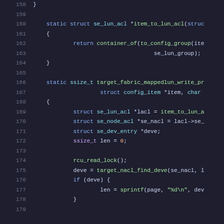[Figure (screenshot): Source code listing in a dark-themed code editor, showing C code lines 158-178 with syntax highlighting. Keywords in blue, function names in green, types in cyan, strings in green, punctuation in white/gray, line numbers in gray.]